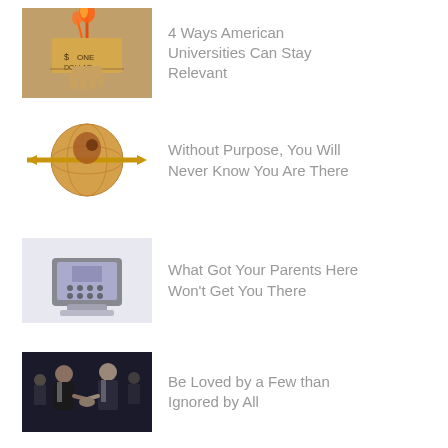4 Ways American Universities Can Stay Relevant
Without Purpose, You Will Never Know You Are There
What Got Your Parents Here Won't Get You There
Be Loved by a Few than Ignored by All